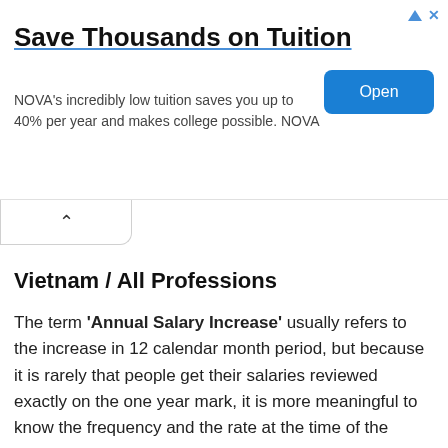[Figure (screenshot): Advertisement banner: 'Save Thousands on Tuition' with NOVA tagline and Open button]
Vietnam / All Professions
The term 'Annual Salary Increase' usually refers to the increase in 12 calendar month period, but because it is rarely that people get their salaries reviewed exactly on the one year mark, it is more meaningful to know the frequency and the rate at the time of the increase.